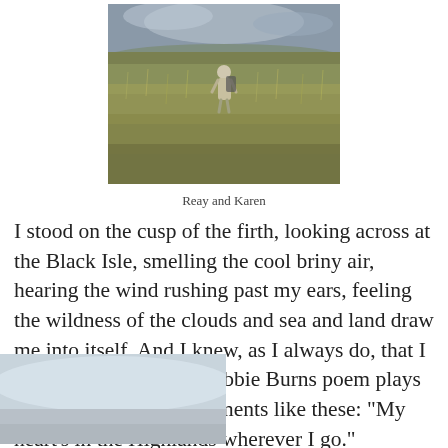[Figure (photo): Two people walking through tall grass fields with mountains and cloudy sky in background, seen from behind]
Reay and Karen
I stood on the cusp of the firth, looking across at the Black Isle, smelling the cool briny air, hearing the wind rushing past my ears, feeling the wildness of the clouds and sea and land draw me into itself. And I knew, as I always do, that I had come home. The Rabbie Burns poem plays through my mind at moments like these: "My heart's in the Highlands wherever I go."
[Figure (photo): Partially visible photo at bottom of page showing a grey cloudy sky scene]